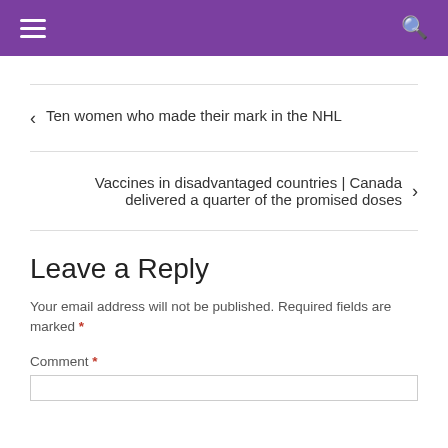Navigation header with hamburger menu and search icon
‹ Ten women who made their mark in the NHL
Vaccines in disadvantaged countries | Canada delivered a quarter of the promised doses ›
Leave a Reply
Your email address will not be published. Required fields are marked *
Comment *